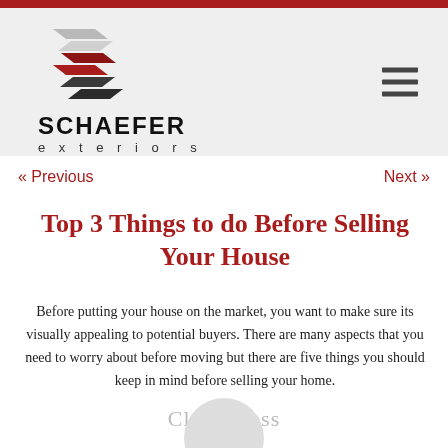[Figure (logo): Schaefer Exteriors logo with stylized layered S shape in red and dark grey/black, company name SCHAEFER in bold black, exteriors in grey spaced letters below]
« Previous
Next »
Top 3 Things to do Before Selling Your House
Before putting your house on the market, you want to make sure its visually appealing to potential buyers. There are many aspects that you need to worry about before moving but there are five things you should keep in mind before selling your home.
Cleanliness